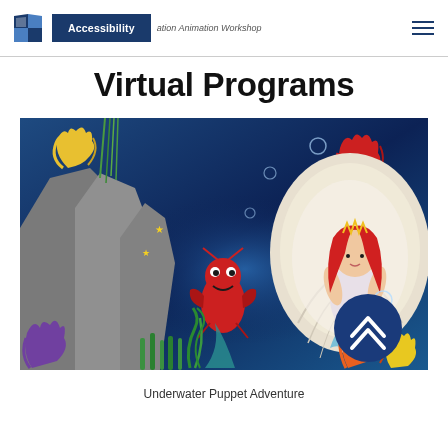Accessibility | ation Animation Workshop
Virtual Programs
[Figure (photo): Underwater puppet adventure scene with a mermaid sitting in a giant clamshell on the right, a red lobster puppet in the center, colorful coral decorations, bubbles, and an undersea backdrop. A circular blue back-to-top arrow button overlays the bottom right of the image.]
Underwater Puppet Adventure